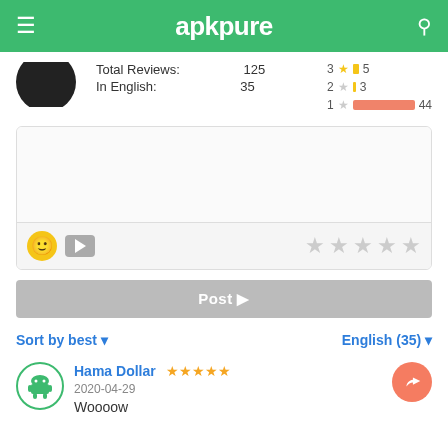apkpure
Total Reviews: 125
In English: 35
[Figure (infographic): Star rating bars: 3 stars yellow small bar 5, 2 stars yellow tiny bar 3, 1 star orange large bar 44]
[Figure (screenshot): Review input box with emoji button, video button, and 5 empty star rating icons]
Post ▶
Sort by best ▾
English (35) ▾
Hama Dollar ★★★★★ 2020-04-29
Woooow